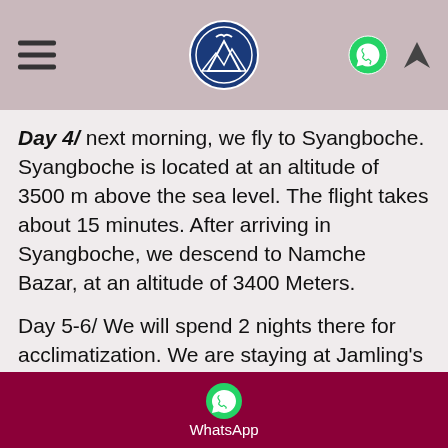Navigation header with hamburger menu, circular logo, WhatsApp icon, and location arrow icon
Day 4/ next morning, we fly to Syangboche. Syangboche is located at an altitude of 3500 m above the sea level. The flight takes about 15 minutes. After arriving in Syangboche, we descend to Namche Bazar, at an altitude of 3400 Meters.
Day 5-6/ We will spend 2 nights there for acclimatization. We are staying at Jamling's hotel. This is a very clean hotel with excellent cuisine. As before, full service members live for 2
Hello! Warmly welcome! You can book your expedition now!
atmosphere. Anyone who has been here at least once, also wants to return here. The price level here is average, and
WhatsApp